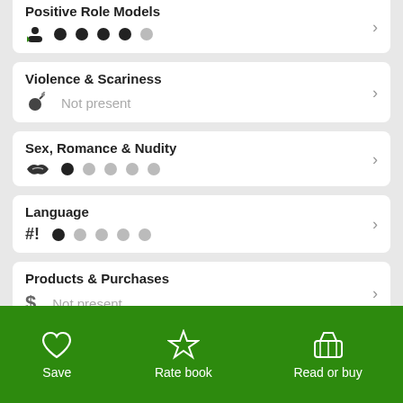Positive Role Models
4 out of 5 dots filled
Violence & Scariness
Not present
Sex, Romance & Nudity
1 out of 5 dots filled
Language
1 out of 5 dots filled
Products & Purchases
Not present
Save  Rate book  Read or buy